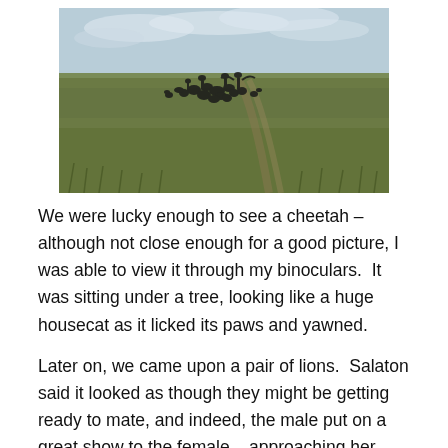[Figure (photo): Photograph of a group of large birds (likely marabou storks and vultures) gathered on open savanna grassland under a cloudy sky. A dirt track is visible in the background.]
We were lucky enough to see a cheetah – although not close enough for a good picture, I was able to view it through my binoculars.  It was sitting under a tree, looking like a huge housecat as it licked its paws and yawned.
Later on, we came upon a pair of lions.  Salaton said it looked as though they might be getting ready to mate, and indeed, the male put on a great show to the female – approaching her several times with his hips swaying and making huffing sounds.  He even went so far as to urinate